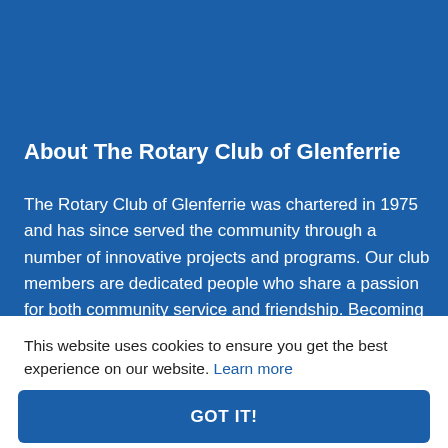About The Rotary Club of Glenferrie
The Rotary Club of Glenferrie was chartered in 1975 and has since served the community through a number of innovative projects and programs. Our club members are dedicated people who share a passion for both community service and friendship. Becoming a Rotarian connects you
This website uses cookies to ensure you get the best experience on our website. Learn more
GOT IT!